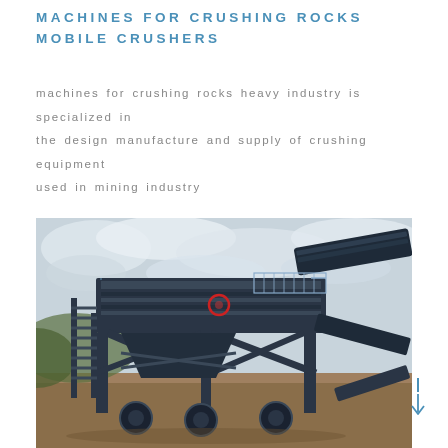MACHINES FOR CRUSHING ROCKS MOBILE CRUSHERS
machines for crushing rocks heavy industry is specialized in the design manufacture and supply of crushing equipment used in mining industry
[Figure (photo): Outdoor industrial photograph of a large mobile rock crushing machine / screening plant with steel framework, conveyor belts, and elevated screening deck, set on a quarry or construction site with overcast sky in the background.]